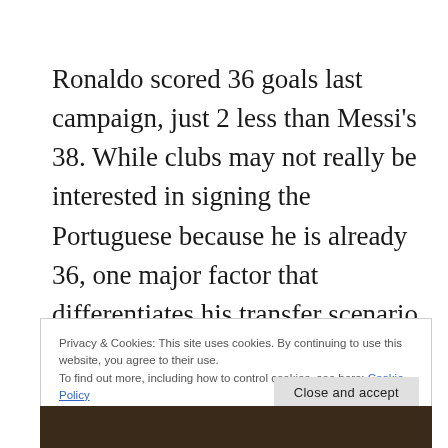Ronaldo scored 36 goals last campaign, just 2 less than Messi's 38. While clubs may not really be interested in signing the Portuguese because he is already 36, one major factor that differentiates his transfer scenario from that of the Argentine is what his counterpart can offer which
Privacy & Cookies: This site uses cookies. By continuing to use this website, you agree to their use.
To find out more, including how to control cookies, see here: Cookie Policy
[Figure (photo): Dark photo strip at the bottom showing a partial image of a person]